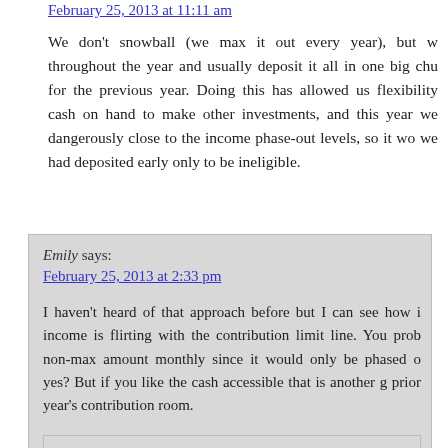February 25, 2013 at 11:11 am (link, partially visible at top)
We don't snowball (we max it out every year), but throughout the year and usually deposit it all in one big chunk for the previous year. Doing this has allowed us flexibility cash on hand to make other investments, and this year we dangerously close to the income phase-out levels, so it wo we had deposited early only to be ineligible.
Emily says:
February 25, 2013 at 2:33 pm

I haven't heard of that approach before but I can see how income is flirting with the contribution limit line. You prob non-max amount monthly since it would only be phased o yes? But if you like the cash accessible that is another g prior year's contribution room.
Mrs PoP @ Planting Our Pennies says:
February 25, 2013 at 3:04 pm